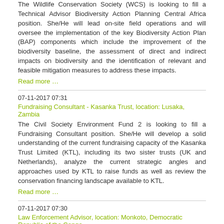The Wildlife Conservation Society (WCS) is looking to fill a Technical Advisor Biodiversity Action Planning Central Africa position. She/He will lead on-site field operations and will oversee the implementation of the key Biodiversity Action Plan (BAP) components which include the improvement of the biodiversity baseline, the assessment of direct and indirect impacts on biodiversity and the identification of relevant and feasible mitigation measures to address these impacts.
Read more …
07-11-2017 07:31
Fundraising Consultant - Kasanka Trust, location: Lusaka, Zambia
The Civil Society Environment Fund 2 is looking to fill a Fundraising Consultant position. She/He will develop a solid understanding of the current fundraising capacity of the Kasanka Trust Limited (KTL), including its two sister trusts (UK and Netherlands), analyze the current strategic angles and approaches used by KTL to raise funds as well as review the conservation financing landscape available to KTL.
Read more …
07-11-2017 07:30
Law Enforcement Advisor, location: Monkoto, Democratic Republic of the Congo
The World Wildlife Fund is looking to fill a Law Enforcement Advisor position. She/He will assist the Park Manager and park staffs implement a law enforcement strategy for protecting and managing this large conservation initiative in the Salonga National Park and surrounding landscape.
Read more …
01-11-2017 07:56
TOR: Consultant in Rain Water Harvesting Systems
Participation is open to individual or legal persons including institutions / consulting firms working in the field. Tender must be submitted in English.